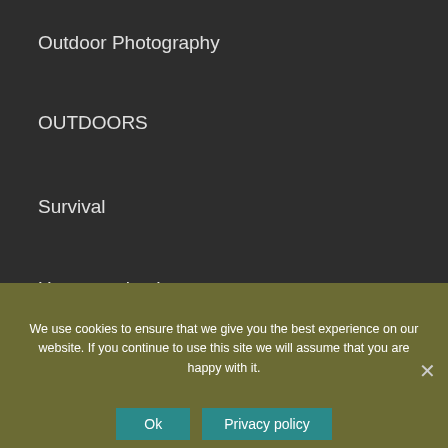Outdoor Photography
OUTDOORS
Survival
Uncategorized
Useful Links
Contact us
About us
Amazon Disclaimer
DMCA / Copyrights Disclaimer
Privacy Policy
Terms and Conditions
We use cookies to ensure that we give you the best experience on our website. If you continue to use this site we will assume that you are happy with it.